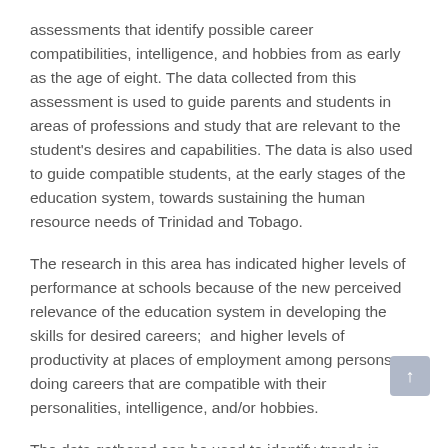assessments that identify possible career compatibilities, intelligence, and hobbies from as early as the age of eight. The data collected from this assessment is used to guide parents and students in areas of professions and study that are relevant to the student's desires and capabilities. The data is also used to guide compatible students, at the early stages of the education system, towards sustaining the human resource needs of Trinidad and Tobago.
The research in this area has indicated higher levels of performance at schools because of the new perceived relevance of the education system in developing the skills for desired careers;  and higher levels of productivity at places of employment among persons doing careers that are compatible with their personalities, intelligence, and/or hobbies.
The data gathered can be used to identify trends in personalities and shape policies for guidance, recruitment, and training of employees, ensuring a greater fit at...